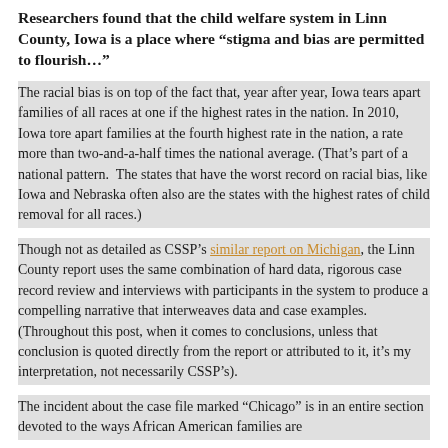Researchers found that the child welfare system in Linn County, Iowa is a place where “stigma and bias are permitted to flourish…”
The racial bias is on top of the fact that, year after year, Iowa tears apart families of all races at one if the highest rates in the nation. In 2010, Iowa tore apart families at the fourth highest rate in the nation, a rate more than two-and-a-half times the national average. (That’s part of a national pattern. The states that have the worst record on racial bias, like Iowa and Nebraska often also are the states with the highest rates of child removal for all races.)
Though not as detailed as CSSP’s similar report on Michigan, the Linn County report uses the same combination of hard data, rigorous case record review and interviews with participants in the system to produce a compelling narrative that interweaves data and case examples. (Throughout this post, when it comes to conclusions, unless that conclusion is quoted directly from the report or attributed to it, it’s my interpretation, not necessarily CSSP’s).
The incident about the case file marked “Chicago” is in an entire section devoted to the ways African American families are